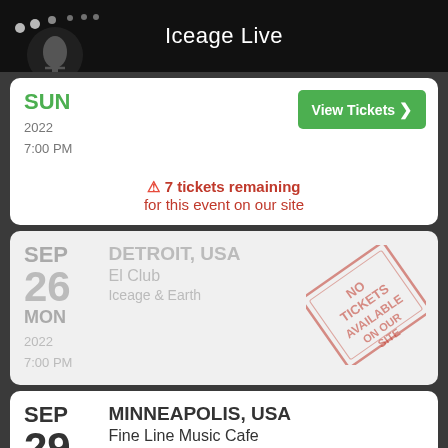Iceage Live
SUN
2022
7:00 PM
View Tickets
⚠ 7 tickets remaining for this event on our site
DETROIT, USA
El Club
Iceage & Earth
SEP 26 MON
2022
7:00 PM
[Figure (other): NO TICKETS AVAILABLE ON OUR SITE stamp overlay on Detroit event card]
MINNEAPOLIS, USA
Fine Line Music Cafe
Iceage & Earth
SEP 29 THU
View Tickets